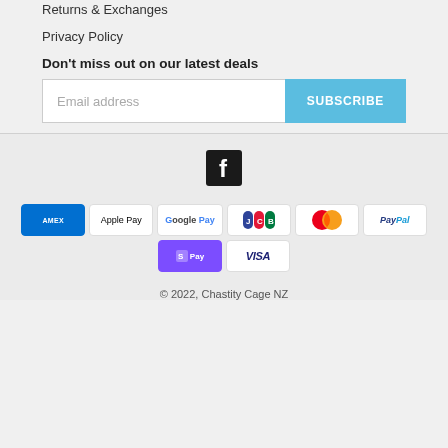Returns & Exchanges
Privacy Policy
Don't miss out on our latest deals
[Figure (infographic): Email subscription form with text input placeholder 'Email address' and a blue SUBSCRIBE button]
[Figure (logo): Facebook logo icon — white F on black square background]
[Figure (infographic): Payment method icons: American Express, Apple Pay, Google Pay, JCB, Mastercard, PayPal, Shop Pay, Visa]
© 2022, Chastity Cage NZ